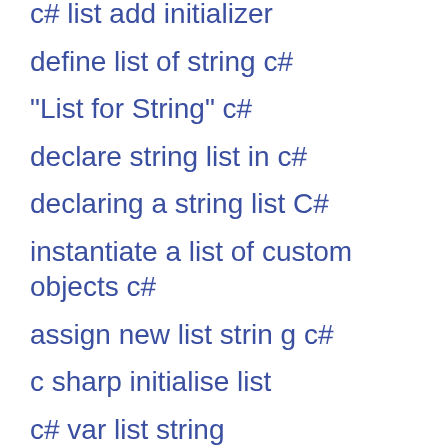c# list add initializer
define list of string c#
"List for String" c#
declare string list in c#
declaring a string list C#
instantiate a list of custom objects c#
assign new list strin g c#
c sharp initialise list
c# var list string
c# declare a list of strings
c# how to call a list
c# initalize list
creating a list of integers c#
instantiate list in c# in model